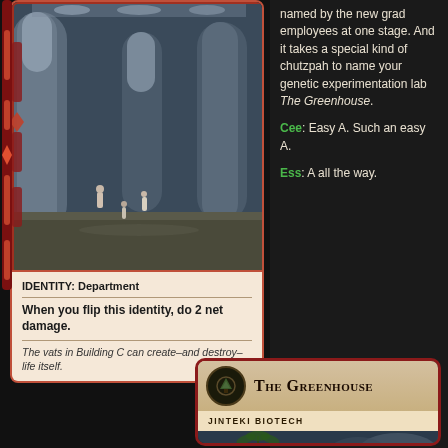[Figure (illustration): Sci-fi laboratory interior with large cylindrical vats, high ceilings, and small figures of people walking on the floor. Illustrated in a digital painting style with cool blue-green tones.]
IDENTITY: Department
When you flip this identity, do 2 net damage.
The vats in Building C can create–and destroy–life itself.
named by the new grad employees at one stage. And it takes a special kind of chutzpah to name your genetic experimentation lab The Greenhouse.
Cee: Easy A. Such an easy A.
Ess: A all the way.
[Figure (illustration): Bottom portion of a game card titled 'The Greenhouse' for Jinteki Biotech, showing card header with icon, title in small caps, and subtitle. Red bordered card with tan/cream header area and a partial illustration of futuristic architecture.]